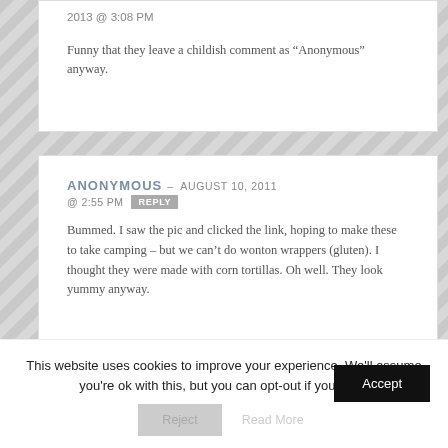2013 @ 3:08 PM
Funny that they leave a childish comment as “Anonymous” anyway.
ANONYMOUS – AUGUST 10, 2011 @ 2:55 PM
Bummed. I saw the pic and clicked the link, hoping to make these to take camping – but we can’t do wonton wrappers (gluten). I thought they were made with corn tortillas. Oh well. They look yummy anyway.
This website uses cookies to improve your experience. We'll assume you're ok with this, but you can opt-out if you wish.